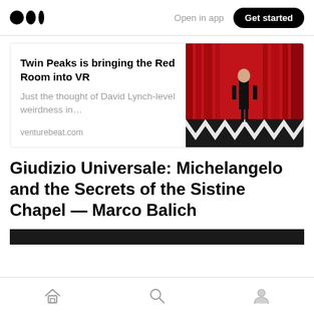Medium — Open in app — Get started
Twin Peaks is bringing the Red Room into VR
Just the thought of David Lynch-level weirdness in...
venturebeat.com
[Figure (photo): A man in a black suit standing in the Twin Peaks Red Room with red curtains and black and white zigzag floor]
Giudizio Universale: Michelangelo and the Secrets of the Sistine Chapel — Marco Balich
[Figure (photo): Dark image bar partially visible at bottom of content area]